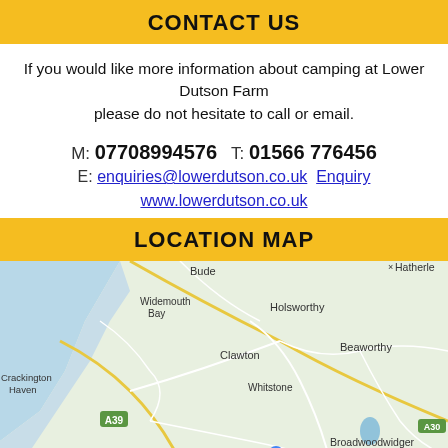CONTACT US
If you would like more information about camping at Lower Dutson Farm please do not hesitate to call or email.
M: 07708994576  T: 01566 776456
E: enquiries@lowerdutson.co.uk  Enquiry
www.lowerdutson.co.uk
LOCATION MAP
[Figure (map): Google map showing the area around Lower Dutson Farm near Launceston, Cornwall. Visible locations include Bude, Widemouth Bay, Crackington Haven, Holsworthy, Clawton, Beaworthy, Broadwoodwidger, Whitstone, Hatherleigh. Road labels A39, A30, A395, A386 visible. A blue location pin marker is shown near Broadwoodwidger.]